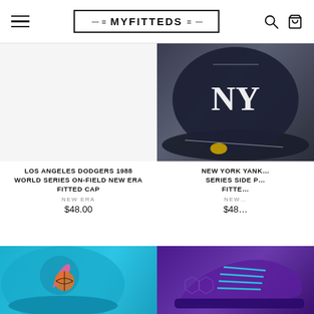MYFITTEDS
[Figure (photo): Right product: New York Yankees World Series Side Patch fitted cap, navy blue with NY logo and gold New Era sticker, photographed close-up on wooden surface]
LOS ANGELES DODGERS 1988 WORLD SERIES ON-FIELD NEW ERA FITTED CAP
NEW ERA
$48.00
NEW YORK YANK... SERIES SIDE P... FITTE...
NEW...
$48...
[Figure (photo): Bottom left: Teal/turquoise Miami Heat fitted cap with flamingo logo design]
[Figure (photo): Bottom right: Purple basketball shoe with blue laces and geometric pattern]